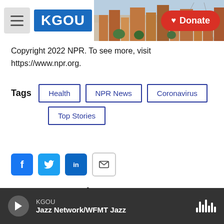[Figure (screenshot): KGOU radio station website header with logo, menu button, city photo background, and red Donate button]
Copyright 2022 NPR. To see more, visit https://www.npr.org.
Tags  Health  NPR News  Coronavirus  Top Stories
[Figure (other): Social share buttons: Facebook, Twitter, LinkedIn, Email]
Joe Hernandez
KGOU  Jazz Network/WFMT Jazz